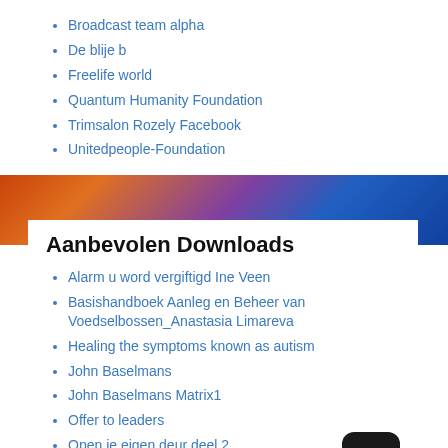Broadcast team alpha
De blije b
Freelife world
Quantum Humanity Foundation
Trimsalon Rozely Facebook
Unitedpeople-Foundation
Aanbevolen Downloads
Alarm u word vergiftigd Ine Veen
Basishandboek Aanleg en Beheer van Voedselbossen_Anastasia Limareva
Healing the symptoms known as autism
John Baselmans
John Baselmans Matrix1
Offer to leaders
Open je eigen deur deel 2
Schatten van de natuur